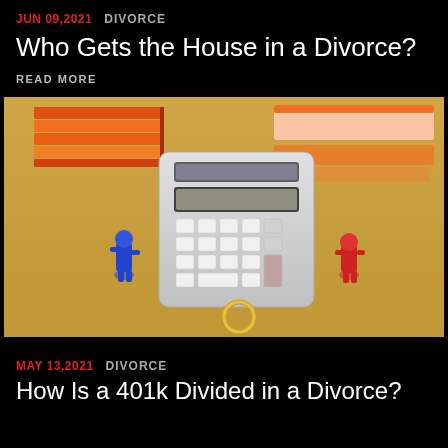JUN 09,2021  DIVORCE
Who Gets the House in a Divorce?
READ MORE
[Figure (photo): A calculator on a wooden desk with a blue figurine on the left and a red figurine on the right, a wedding ring in front, and stacked orange-covered books in the background — symbolizing divorce asset division.]
MAY 13,2021  DIVORCE
How Is a 401k Divided in a Divorce?